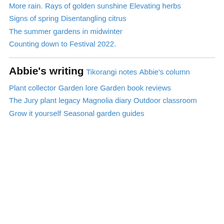More rain.
Rays of golden sunshine
Elevating herbs
Signs of spring
Disentangling citrus
The summer gardens in midwinter
Counting down to Festival 2022.
Abbie's writing
Tikorangi notes
Abbie's column
Plant collector
Garden lore
Garden book reviews
The Jury plant legacy
Magnolia diary
Outdoor classroom
Grow it yourself
Seasonal garden guides